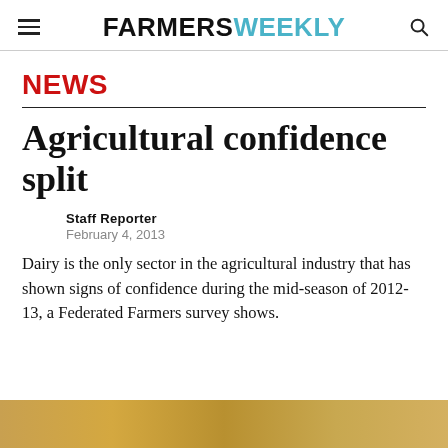FARMERS WEEKLY
NEWS
Agricultural confidence split
Staff Reporter
February 4, 2013
Dairy is the only sector in the agricultural industry that has shown signs of confidence during the mid-season of 2012-13, a Federated Farmers survey shows.
[Figure (photo): Golden/amber colored image strip at the bottom of the page, likely a farming or agriculture related photo.]